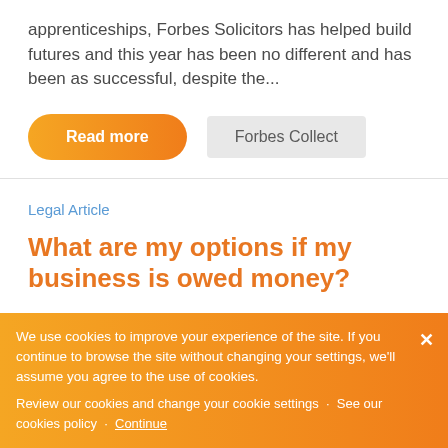apprenticeships, Forbes Solicitors has helped build futures and this year has been no different and has been as successful, despite the...
Read more
Forbes Collect
Legal Article
What are my options if my business is owed money?
We use cookies to improve your experience of the site. If you continue to browse the site without changing your settings, we'll assume you agree to the use of cookies.
Review our cookies and change your cookie settings · See our cookies policy · Continue